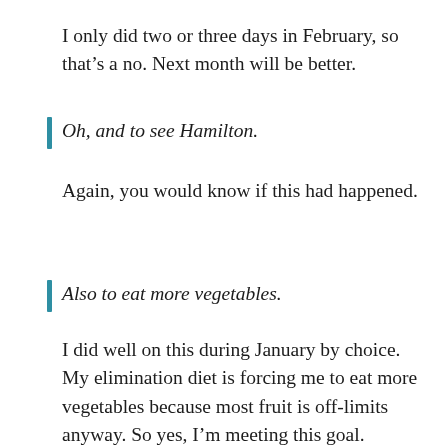I only did two or three days in February, so that's a no. Next month will be better.
Oh, and to see Hamilton.
Again, you would know if this had happened.
Also to eat more vegetables.
I did well on this during January by choice. My elimination diet is forcing me to eat more vegetables because most fruit is off-limits anyway. So yes, I'm meeting this goal.